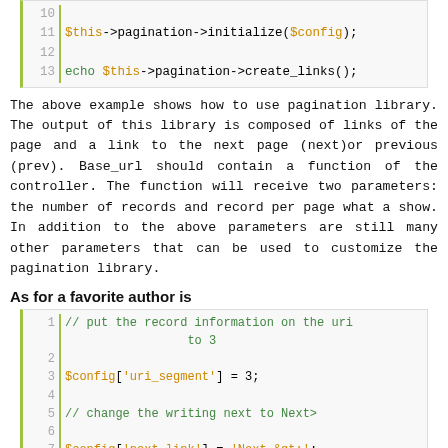[Figure (screenshot): Code block showing lines 10-13 of PHP code: $this->pagination->initialize($config); and echo $this->pagination->create_links();]
The above example shows how to use pagination library. The output of this library is composed of links of the page and a link to the next page (next)or previous (prev). Base_url should contain a function of the controller. The function will receive two parameters: the number of records and record per page what a show. In addition to the above parameters are still many other parameters that can be used to customize the pagination library.
As for a favorite author is
[Figure (screenshot): Code block showing lines 1-9 of PHP code including comments and $config['uri_segment'] = 3; $config['next_link'] = 'Next &gt;'; and a partial comment about replacing prev posts]